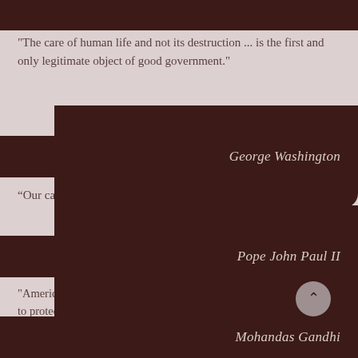"The care of human life and not its destruction ... is the first and only legitimate object of good government."
George Washington
“Our cause is noble; it is the cause of mankind!”
Pope John Paul II
"America, your very future as a nation depends on your willingness to protect the Right to Life of the most defenseless in your society."
Mohandas Gandhi